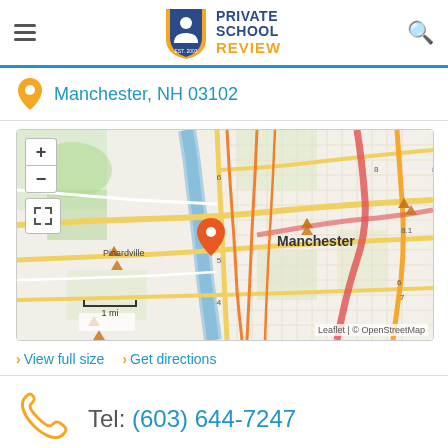[Figure (logo): Private School Review logo with shield icon, EST. 2003]
Manchester, NH 03102
[Figure (map): OpenStreetMap map centered on Manchester, NH showing location pin near Pinardville area. Includes zoom controls, expand button, and 1 mi scale bar. Attribution: Leaflet | © OpenStreetMap]
> View full size
> Get directions
Tel: (603) 644-7247